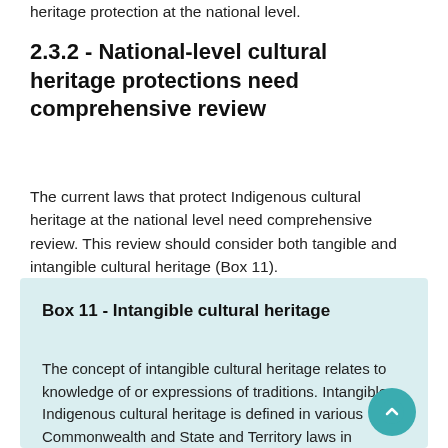heritage protection at the national level.
2.3.2 - National-level cultural heritage protections need comprehensive review
The current laws that protect Indigenous cultural heritage at the national level need comprehensive review. This review should consider both tangible and intangible cultural heritage (Box 11).
Box 11 - Intangible cultural heritage
The concept of intangible cultural heritage relates to knowledge of or expressions of traditions. Intangible Indigenous cultural heritage is defined in various Commonwealth and State and Territory laws in